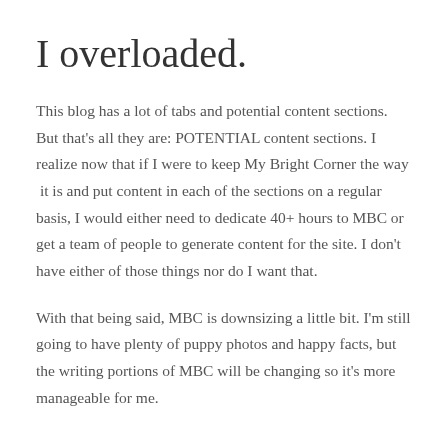I overloaded.
This blog has a lot of tabs and potential content sections. But that's all they are: POTENTIAL content sections. I realize now that if I were to keep My Bright Corner the way  it is and put content in each of the sections on a regular basis, I would either need to dedicate 40+ hours to MBC or get a team of people to generate content for the site. I don't have either of those things nor do I want that.
With that being said, MBC is downsizing a little bit. I'm still going to have plenty of puppy photos and happy facts, but the writing portions of MBC will be changing so it's more manageable for me.